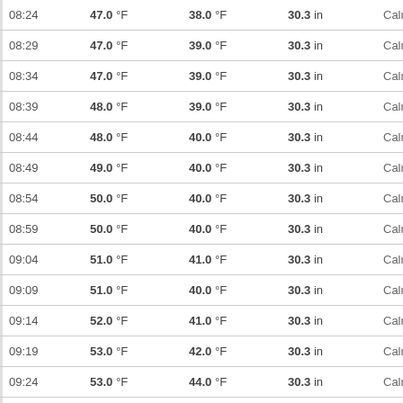| 08:24 | 47.0 °F | 38.0 °F | 30.3 in | Calm |
| 08:29 | 47.0 °F | 39.0 °F | 30.3 in | Calm |
| 08:34 | 47.0 °F | 39.0 °F | 30.3 in | Calm |
| 08:39 | 48.0 °F | 39.0 °F | 30.3 in | Calm |
| 08:44 | 48.0 °F | 40.0 °F | 30.3 in | Calm |
| 08:49 | 49.0 °F | 40.0 °F | 30.3 in | Calm |
| 08:54 | 50.0 °F | 40.0 °F | 30.3 in | Calm |
| 08:59 | 50.0 °F | 40.0 °F | 30.3 in | Calm |
| 09:04 | 51.0 °F | 41.0 °F | 30.3 in | Calm |
| 09:09 | 51.0 °F | 40.0 °F | 30.3 in | Calm |
| 09:14 | 52.0 °F | 41.0 °F | 30.3 in | Calm |
| 09:19 | 53.0 °F | 42.0 °F | 30.3 in | Calm |
| 09:24 | 53.0 °F | 44.0 °F | 30.3 in | Calm |